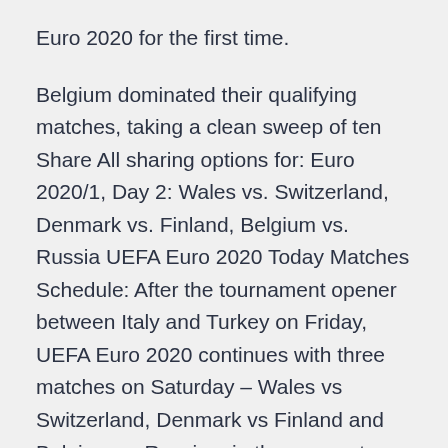Euro 2020 for the first time.
Belgium dominated their qualifying matches, taking a clean sweep of ten Share All sharing options for: Euro 2020/1, Day 2: Wales vs. Switzerland, Denmark vs. Finland, Belgium vs. Russia UEFA Euro 2020 Today Matches Schedule: After the tournament opener between Italy and Turkey on Friday, UEFA Euro 2020 continues with three matches on Saturday – Wales vs Switzerland, Denmark vs Finland and Belgium vs Russia – in the group stage category. Switzerland and Wales face each in the group's second game in Baku on Saturday. Watch Live Streaming of Finland vs Belgium on Yle. Yle is the national public broadcasting company of Finland.
Mauritius 0-1 Mozambique [Full match] Mauritius 0-1